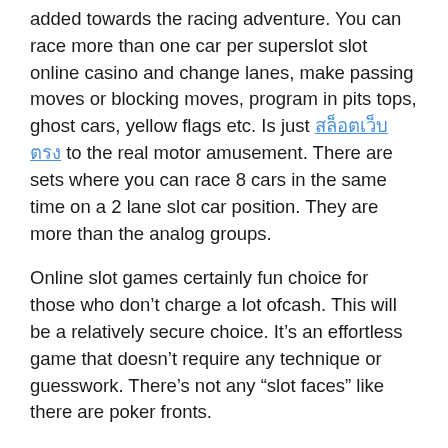added towards the racing adventure. You can race more than one car per superslot slot online casino and change lanes, make passing moves or blocking moves, program in pits tops, ghost cars, yellow flags etc. Is just [Thai text link] to the real motor amusement. There are sets where you can race 8 cars in the same time on a 2 lane slot car position. They are more than the analog groups.
Online slot games certainly fun choice for those who don’t charge a lot ofcash. This will be a relatively secure choice. It’s an effortless game that doesn’t require any technique or guesswork. There’s not any “slot faces” like there are poker fronts.